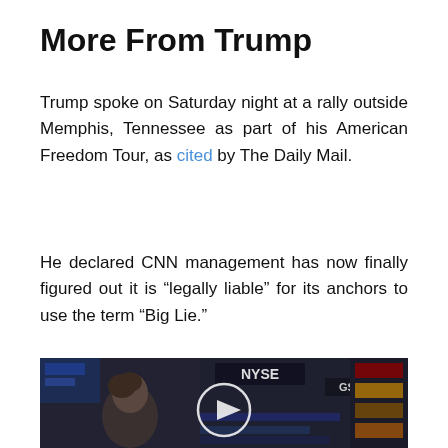More From Trump
Trump spoke on Saturday night at a rally outside Memphis, Tennessee as part of his American Freedom Tour, as cited by The Daily Mail.
He declared CNN management has now finally figured out it is “legally liable” for its anchors to use the term “Big Lie.”
[Figure (photo): Video thumbnail showing NYSE trading floor with a person in foreground and financial displays in background, with a play button overlay.]